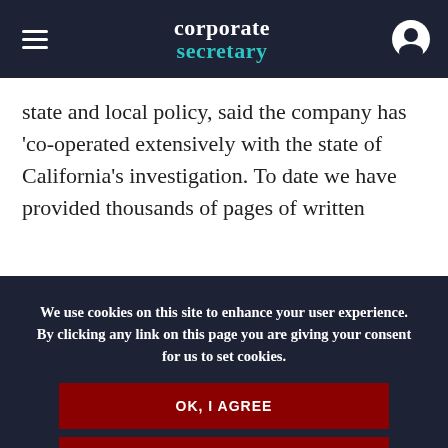corporate secretary
state and local policy, said the company has 'co-operated extensively with the state of California's investigation. To date we have provided thousands of pages of written
We use cookies on this site to enhance your user experience. By clicking any link on this page you are giving your consent for us to set cookies.
OK, I AGREE
NO, GIVE ME MORE INFO